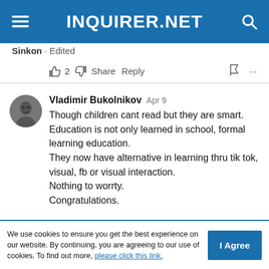INQUIRER.NET
Sinkon · Edited
👍 2 👎  Share  Reply  🚩 ...
Vladimir Bukolnikov  Apr 9
Though children cant read but they are smart.
Education is not only learned in school, formal learning education.
They now have alternative in learning thru tik tok, visual, fb or visual interaction.
Nothing to worrty.
Congratulations.
We use cookies to ensure you get the best experience on our website. By continuing, you are agreeing to our use of cookies. To find out more, please click this link.